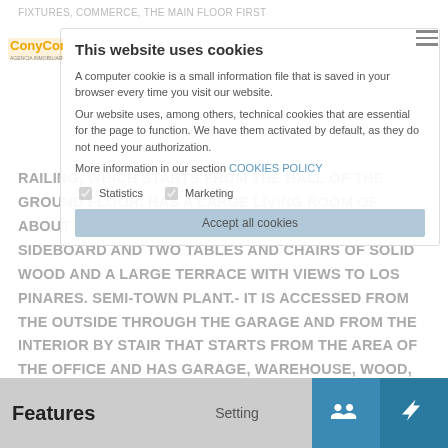RAILING, WHICH STARTS FROM THE HALL OF THE GROUND FLOOR. HAS A LARGE LIVING ROOM OF ABOUT 40 M2, FURNISHED WITH TWO SOFAS, SIDEBOARD AND TWO TABLES AND CHAIRS OF SOLID WOOD AND A LARGE TERRACE WITH VIEWS TO LOS PINARES. SEMI-TOWN PLANT.- IT IS ACCESSED FROM THE OUTSIDE THROUGH THE GARAGE AND FROM THE INTERIOR BY STAIR THAT STARTS FROM THE AREA OF THE OFFICE AND HAS GARAGE, WAREHOUSE, WOOD, BATHROOM WITH SHOWER AND BOILER ROOM. ALL WINDOWS AND DOORS HOLES ARE PROTECTED WITH SOLID FORGED STEEL GRILLS.
[Figure (screenshot): Cookie consent overlay on a real estate website (ConyCor), showing cookie policy notice, accept all cookies button, statistics and marketing checkboxes, and a settings option. Bottom bar shows Features label and navigation icons.]
This website uses cookies
A computer cookie is a small information file that is saved in your browser every time you visit our website.
Our website uses, among others, technical cookies that are essential for the page to function. We have them activated by default, as they do not need your authorization.
More information in our section COOKIES POLICY
Accept all cookies
Features
Setting